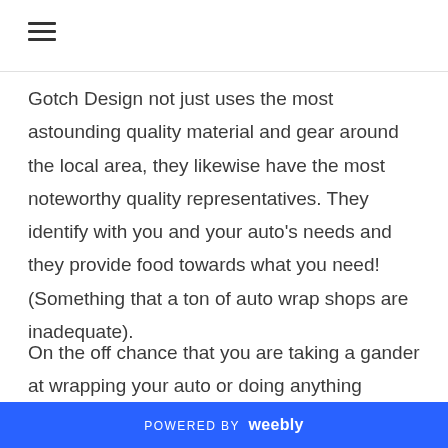Gotch Design not just uses the most astounding quality material and gear around the local area, they likewise have the most noteworthy quality representatives. They identify with you and your auto's needs and they provide food towards what you need! (Something that a ton of auto wrap shops are inadequate).
On the off chance that you are taking a gander at wrapping your auto or doing anything evaluated to outside feel, don't delay and call Aso and Gotch
POWERED BY weebly